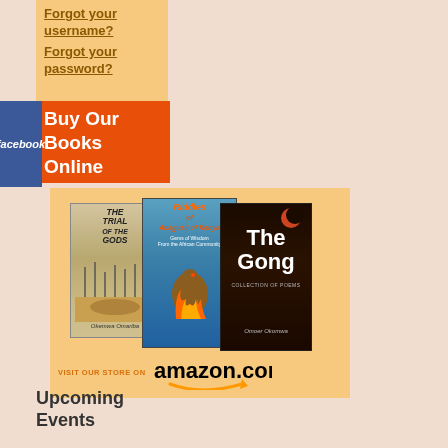Forgot your username?
Forgot your password?
[Figure (logo): Facebook button logo]
Buy Our Books Online
[Figure (illustration): Three book covers: The Trial of the Gods, Riddles of Abagusii of Kenya, The Gong. Below: VISIT OUR STORE ON amazon.com with arrow logo.]
Upcoming Events